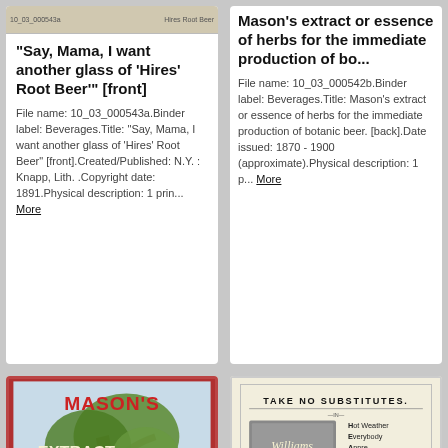[Figure (screenshot): Top strip of a scanned/printed card showing faint image header bar]
"Say, Mama, I want another glass of 'Hires' Root Beer'" [front]
File name: 10_03_000543a.Binder label: Beverages.Title: "Say, Mama, I want another glass of 'Hires' Root Beer" [front].Created/Published: N.Y. : Knapp, Lith. .Copyright date: 1891.Physical description: 1 prin... More
Mason's extract or essence of herbs for the immediate production of bo...
File name: 10_03_000542b.Binder label: Beverages.Title: Mason's extract or essence of herbs for the immediate production of botanic beer. [back].Date issued: 1870 - 1900 (approximate).Physical description: 1 p... More
[Figure (illustration): Mason's Extract or Essence of Herbs vintage label with tree illustration and man in hat, red and brown border]
[Figure (illustration): Williams Concentrated Root Beer Extract vintage label with text 'Take No Substitutes' and acrostic listing health benefits]